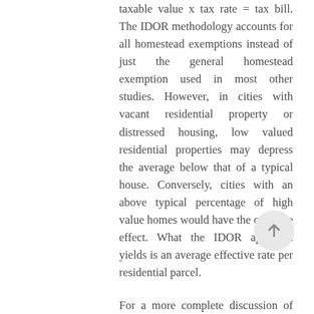taxable value x tax rate = tax bill. The IDOR methodology accounts for all homestead exemptions instead of just the general homestead exemption used in most other studies. However, in cities with vacant residential property or distressed housing, low valued residential properties may depress the average below that of a typical house. Conversely, cities with an above typical percentage of high value homes would have the opposite effect. What the IDOR approach yields is an average effective rate per residential parcel.

For a more complete discussion of implications of using fixed, median, or average home values in computing effective rates, see “Other Ways of Calculating Effective Tax Rates,” Tax Facts, March 2018. The results of the